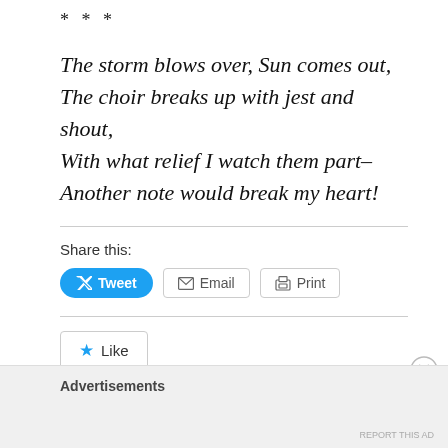* * *
The storm blows over, Sun comes out,
The choir breaks up with jest and shout,
With what relief I watch them part–
Another note would break my heart!
Share this:
Tweet  Email  Print
Like
Advertisements